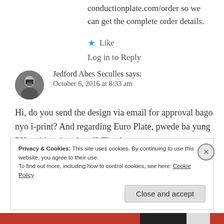conductionplate.com/order so we can get the complete order details.
★ Like
Log in to Reply
Jedford Abes Seculles says:
October 6, 2016 at 8:33 am
Hi, do you send the design via email for approval bago nyo i-print? And regarding Euro Plate, pwede ba yung PH emblem is colored? Thanks.
Privacy & Cookies: This site uses cookies. By continuing to use this website, you agree to their use.
To find out more, including how to control cookies, see here: Cookie Policy
Close and accept